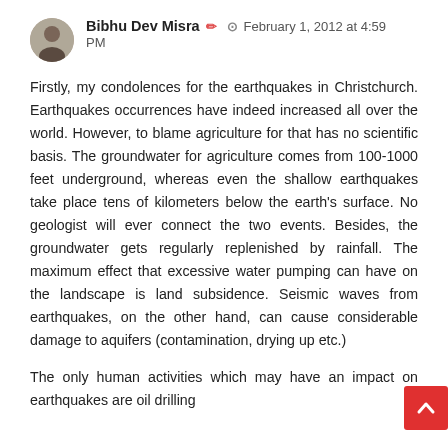Bibhu Dev Misra ✏ ⊙ February 1, 2012 at 4:59 PM
Firstly, my condolences for the earthquakes in Christchurch. Earthquakes occurrences have indeed increased all over the world. However, to blame agriculture for that has no scientific basis. The groundwater for agriculture comes from 100-1000 feet underground, whereas even the shallow earthquakes take place tens of kilometers below the earth's surface. No geologist will ever connect the two events. Besides, the groundwater gets regularly replenished by rainfall. The maximum effect that excessive water pumping can have on the landscape is land subsidence. Seismic waves from earthquakes, on the other hand, can cause considerable damage to aquifers (contamination, drying up etc.)
The only human activities which may have an impact on earthquakes are oil drilling